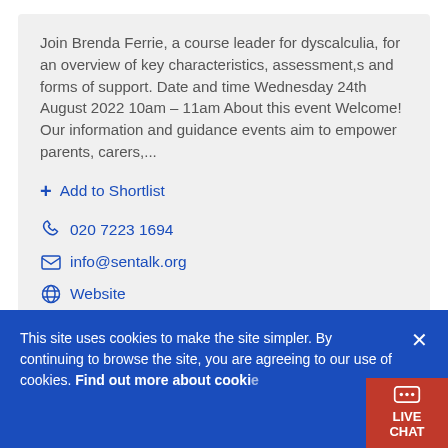Join Brenda Ferrie, a course leader for dyscalculia, for an overview of key characteristics, assessment,s and forms of support. Date and time Wednesday 24th August 2022 10am – 11am About this event Welcome! Our information and guidance events aim to empower parents, carers,...
+ Add to Shortlist
020 7223 1694
info@sentalk.org
Website
This site uses cookies to make the site simpler. By continuing to browse the site, you are agreeing to our use of cookies. Find out more about cookies